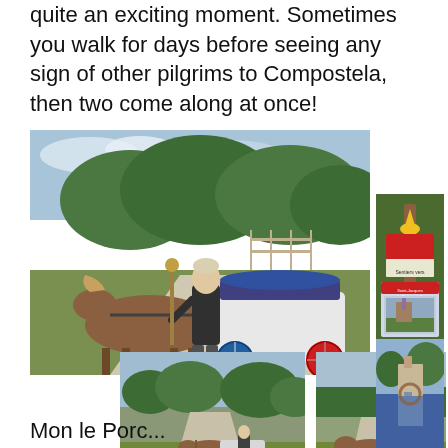quite an exciting moment. Sometimes you walk for days before seeing any sign of other pilgrims to Compostela, then two come along at once!
[Figure (photo): Three photos of a man standing with a small pony pulling a colourful miniature carriage on a path through a park. Main large photo and two smaller photos below showing the pony and cart from different angles.]
[Figure (photo): Sidebar collage of Camino de Santiago related items: a waymarker post with yellow shell symbol, a book/guide titled 'Sentiers vers Saint-Jacques de Compostelle via Tours', and a scenic water-reflection landscape photo.]
Mon le Porc...